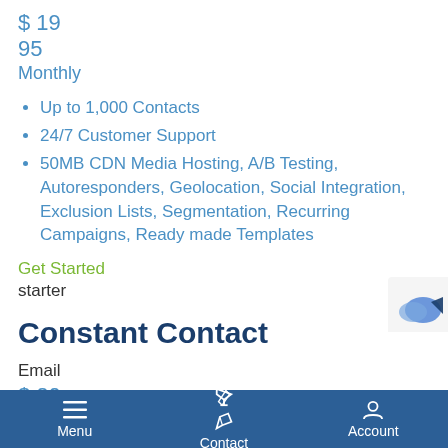$ 19
95
Monthly
Up to 1,000 Contacts
24/7 Customer Support
50MB CDN Media Hosting, A/B Testing, Autoresponders, Geolocation, Social Integration, Exclusion Lists, Segmentation, Recurring Campaigns, Ready made Templates
Get Started
starter
Constant Contact
Email
$ 20
Monthly
Unlimited Emails
Menu  Contact  Account